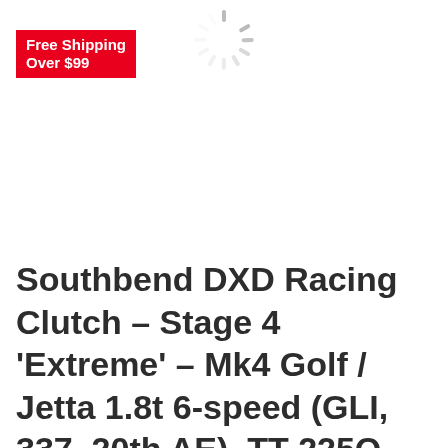[Figure (other): Loading spinner graphic (gray radial lines in a circle pattern) at top center of page]
Free Shipping Over $99
Southbend DXD Racing Clutch – Stage 4 'Extreme' – Mk4 Golf / Jetta 1.8t 6-speed (GLI, 337, 20th AE), TT 225Q, Clutch kit